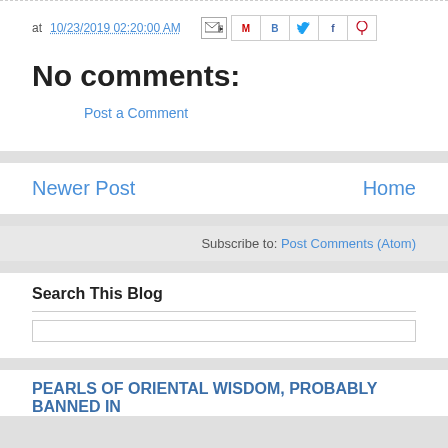at 10/23/2019 02:20:00 AM
No comments:
Post a Comment
Newer Post
Home
Subscribe to: Post Comments (Atom)
Search This Blog
PEARLS OF ORIENTAL WISDOM, PROBABLY BANNED IN